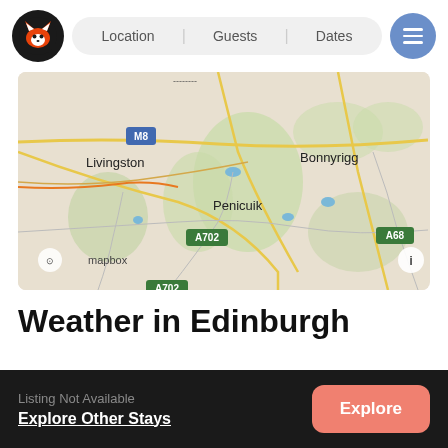[Figure (screenshot): App header with fox logo, search bar with Location, Guests, Dates fields, and blue menu button]
[Figure (map): Mapbox map showing Edinburgh area with Livingston, Bonnyrigg, Penicuik, road labels M8, A702, A68, green areas]
Weather in Edinburgh
Listing Not Available
Explore Other Stays
Explore